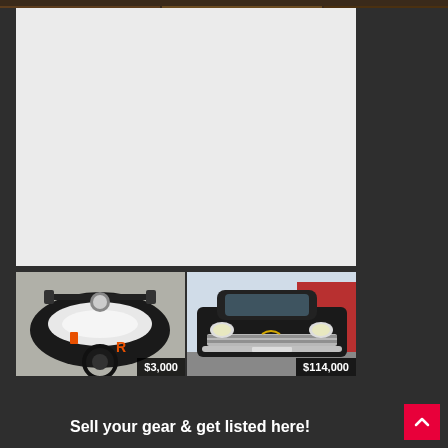[Figure (photo): Cropped top strip showing partial images of vehicles/gear on dark background]
[Figure (other): Large light grey advertisement placeholder box]
[Figure (photo): Motorcycle close-up photo with tank and handlebars visible, price label $3,000]
[Figure (photo): Classic black 1957 Chevrolet car front view, price label $114,000]
Sell your gear & get listed here!